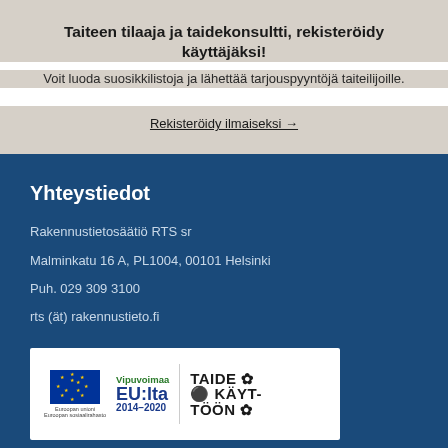Taiteen tilaaja ja taidekonsultti, rekisteröidy käyttäjäksi!
Voit luoda suosikkilistoja ja lähettää tarjouspyyntöjä taiteilijoille.
Rekisteröidy ilmaiseksi →
Yhteystiedot
Rakennustietosäätiö RTS sr
Malminkatu 16 A, PL1004, 00101 Helsinki
Puh. 029 309 3100
rts (ät) rakennustieto.fi
[Figure (logo): Logos: EU flag with Vipuvoimaa EU:lta 2014-2020 and Taide Käyttöön logos on white background]